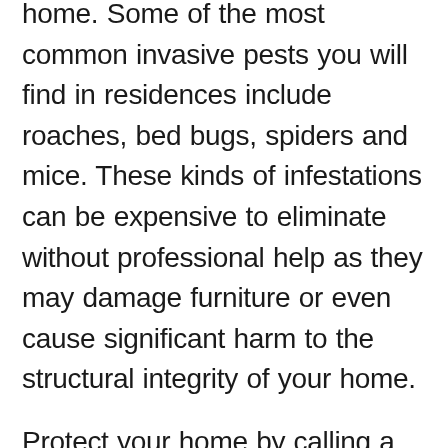home. Some of the most common invasive pests you will find in residences include roaches, bed bugs, spiders and mice. These kinds of infestations can be expensive to eliminate without professional help as they may damage furniture or even cause significant harm to the structural integrity of your home.
Protect your home by calling a pest control professional to ensure the longevity of your property and the health of your family. The costs of repairs due to infestation can run into the thousands of dollars. Hiring a pest control expert will save you money in the long run and keep your family safe from many different health-related